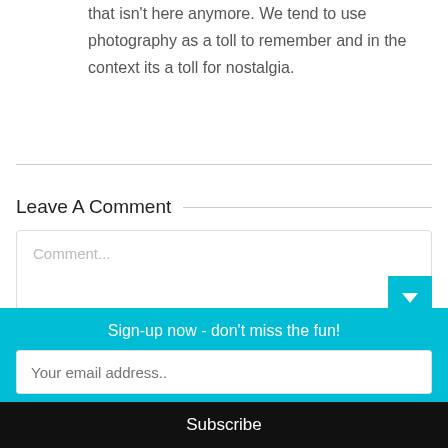that isn't here anymore. We tend to use photography as a toll to remember and in the context its a toll for nostalgia.
Leave A Comment
Comment...
Sign-up now - don't miss the fun!
Your email address..
Subscribe